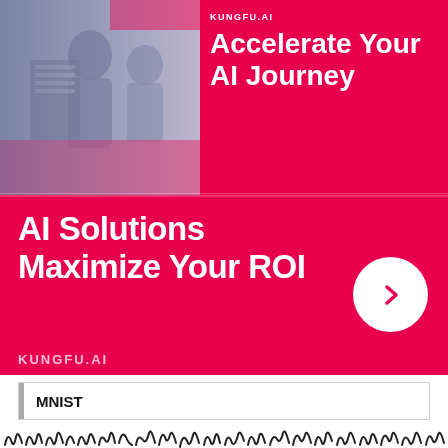[Figure (illustration): KungFu.AI advertisement banner. Top portion shows a photo of two people working with equipment on left, and on right white text reads 'KUNGFU.AI' and 'Accelerate Your AI Journey'. Bottom magenta section shows 'AI Solutions Maximize Your ROI' with a white circle arrow button and 'KUNGFU.AI' brand label.]
MNIST
[Figure (photo): Partial view of handwritten digit characters at the bottom of the page, showing MNIST dataset examples]